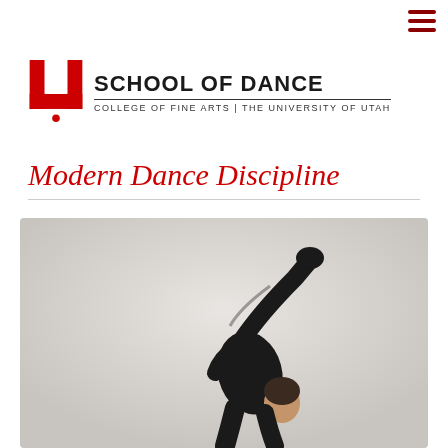[Figure (logo): University of Utah School of Dance logo with red U block letter and text 'SCHOOL OF DANCE / COLLEGE OF FINE ARTS | THE UNIVERSITY OF UTAH']
Modern Dance Discipline
[Figure (photo): Dancer in black clothing performing a modern dance move with one arm raised high, photographed against a light grey background]